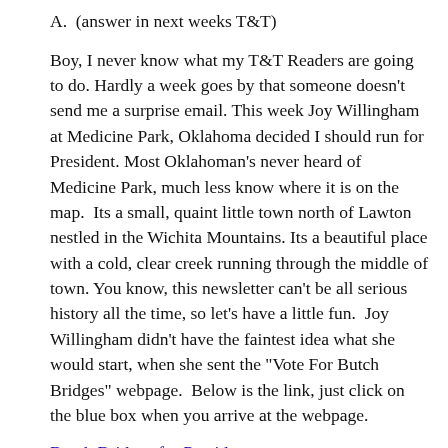A.  (answer in next weeks T&T)
Boy, I never know what my T&T Readers are going to do. Hardly a week goes by that someone doesn't send me a surprise email. This week Joy Willingham at Medicine Park, Oklahoma decided I should run for President. Most Oklahoman's never heard of Medicine Park, much less know where it is on the map.  Its a small, quaint little town north of Lawton nestled in the Wichita Mountains. Its a beautiful place with a cold, clear creek running through the middle of town. You know, this newsletter can't be all serious history all the time, so let's have a little fun.  Joy Willingham didn't have the faintest idea what she would start, when she sent the "Vote For Butch Bridges" webpage.  Below is the link, just click on the blue box when you arrive at the webpage.
Butch Bridges for President